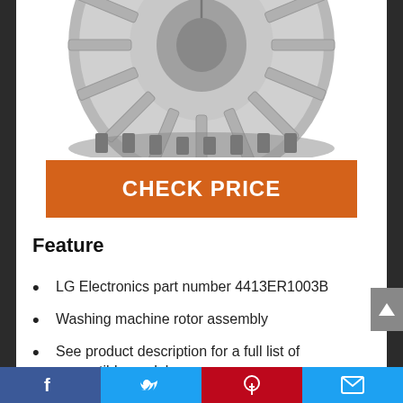[Figure (photo): Partial view of a washing machine rotor assembly component (metallic silver/chrome circular part with fins/blades visible from the top), cropped at the bottom]
CHECK PRICE
Feature
LG Electronics part number 4413ER1003B
Washing machine rotor assembly
See product description for a full list of compatible models
Refer to your manual to ensure
Facebook  Twitter  Pinterest  Email